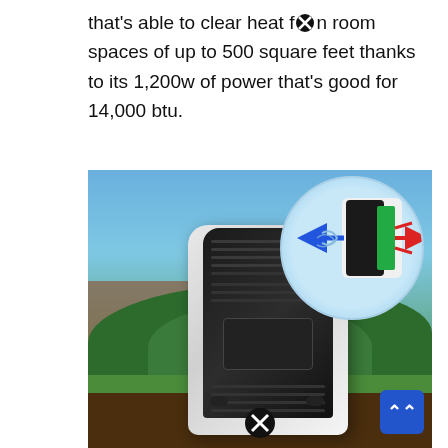that's able to clear heat f[blocked]n room spaces of up to 500 square feet thanks to its 1,200w of power that's good for 14,000 btu.
[Figure (photo): Photo of a portable air cooler/evaporative cooler unit outdoors on grass in front of shrubs and a brick building. The device is tall with a black front grille panel and white body on wheels. In the top-right corner is a circular inset diagram showing airflow through the unit with blue and red arrows. A blue back-to-top button appears in the bottom-right corner. A blocked/close icon appears at the bottom center.]